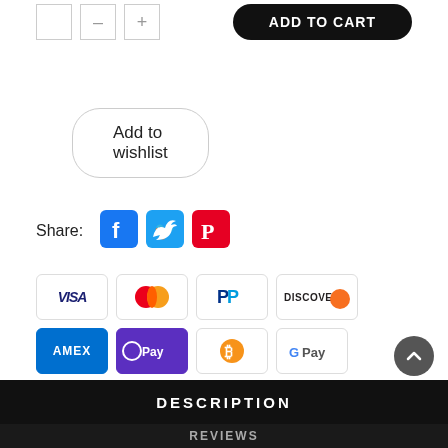[Figure (screenshot): Quantity selector boxes and ADD TO CART button at top of page]
Add to wishlist
Share:
[Figure (logo): Social media share icons: Facebook, Twitter, Pinterest]
[Figure (logo): Payment method badges: VISA, Mastercard, PayPal, Discover, AMEX, O Pay, Bitcoin, G Pay]
DESCRIPTION
REVIEWS